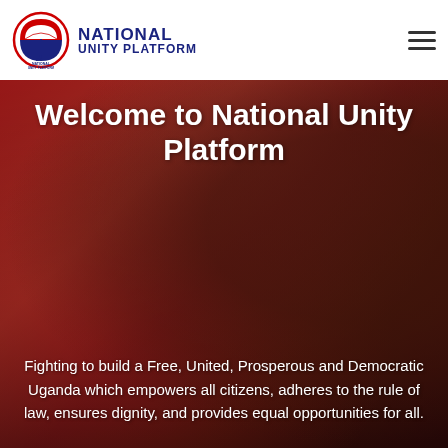[Figure (logo): National Unity Platform logo: circular emblem with umbrella and red/blue/white colors, with 'NATIONAL UNITY PLATFORM' text in dark navy blue beside it]
[Figure (photo): Hero background photo of a rally crowd in red, with a man wearing a red beret (Bobi Wine / Robert Kyagulanyi) smiling in the foreground, red banners in the background]
Welcome to National Unity Platform
Fighting to build a Free, United, Prosperous and Democratic Uganda which empowers all citizens, adheres to the rule of law, ensures dignity, and provides equal opportunities for all.